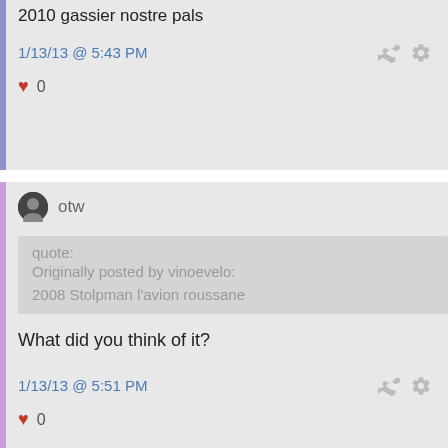2010 gassier nostre pals
1/13/13 @ 5:43 PM
♥ 0
otw
quote: Originally posted by vinoevelo: 2008 Stolpman l'avion roussane
What did you think of it?
1/13/13 @ 5:51 PM
♥ 0